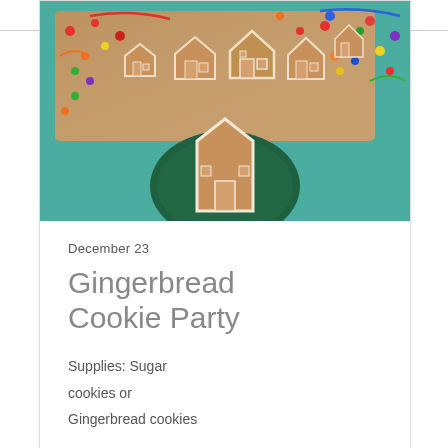[Figure (photo): Photo of gingerbread house-shaped cookies on a wooden board surrounded by colorful candies and sprinkles on a teal tablecloth, with one large gingerbread house cookie on a dark green plate in the foreground]
December 23
Gingerbread Cookie Party
Supplies: Sugar cookies or Gingerbread cookies